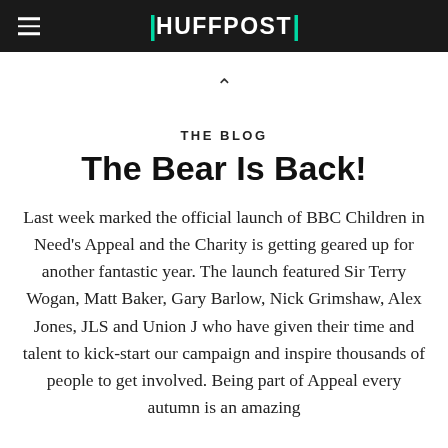HUFFPOST
THE BLOG
The Bear Is Back!
Last week marked the official launch of BBC Children in Need's Appeal and the Charity is getting geared up for another fantastic year. The launch featured Sir Terry Wogan, Matt Baker, Gary Barlow, Nick Grimshaw, Alex Jones, JLS and Union J who have given their time and talent to kick-start our campaign and inspire thousands of people to get involved. Being part of Appeal every autumn is an amazing